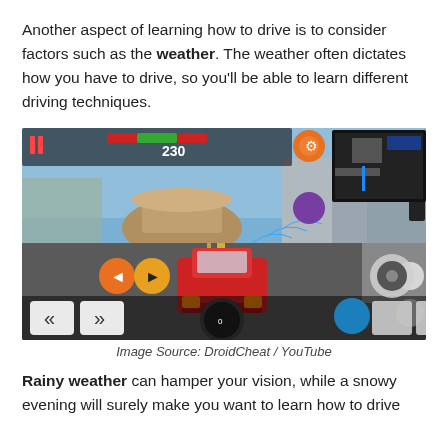Another aspect of learning how to drive is to consider factors such as the weather. The weather often dictates how you have to drive, so you'll be able to learn different driving techniques.
[Figure (screenshot): Screenshot of a driving simulator video game showing a red car on a city road with game UI elements including speedometer, minimap, and controls.]
Image Source: DroidCheat / YouTube
Rainy weather can hamper your vision, while a snowy evening will surely make you want to learn how to drive